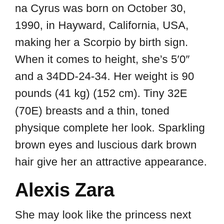na Cyrus was born on October 30, 1990, in Hayward, California, USA, making her a Scorpio by birth sign. When it comes to height, she's 5'0" and a 34DD-24-34. Her weight is 90 pounds (41 kg) (152 cm). Tiny 32E (70E) breasts and a thin, toned physique complete her look. Sparkling brown eyes and luscious dark brown hair give her an attractive appearance.
Alexis Zara
She may look like the princess next door, but Alexis Zara is up for anything. One of these tramps sex-claims kitten's to fame is that she...